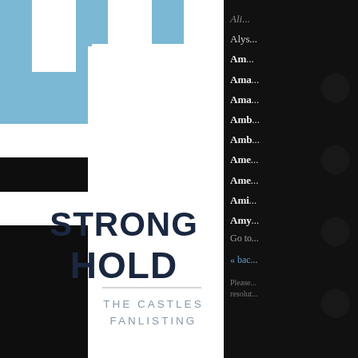[Figure (logo): Stronghold: The Castles Fanlisting logo — a white castle banner/ribbon shape on dark background with light blue castle battlements at top, containing bold dark navy text 'STRONG HOLD' and smaller grey text 'THE CASTLES FANLISTING']
Ali...
Alys...
Am...
Ama...
Ama...
Amb...
Amb...
Ame...
Ame...
Ami...
Amy...
Go to...
« bac...
Please... resolut...